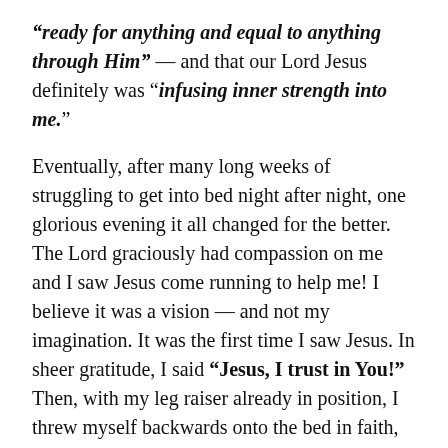“ready for anything and equal to anything through Him” — and that our Lord Jesus definitely was “infusing inner strength into me.”
Eventually, after many long weeks of struggling to get into bed night after night, one glorious evening it all changed for the better. The Lord graciously had compassion on me and I saw Jesus come running to help me! I believe it was a vision — and not my imagination. It was the first time I saw Jesus. In sheer gratitude, I said “Jesus, I trust in You!” Then, with my leg raiser already in position, I threw myself backwards onto the bed in faith, knowing — not hoping — that this time I would get into bed easily. I did!